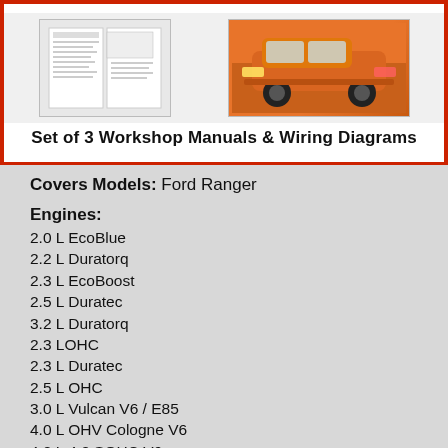[Figure (illustration): Workshop manual cover banner showing document thumbnails and an orange Ford Ranger truck, with red border and title 'Set of 3 Workshop Manuals & Wiring Diagrams']
Covers Models: Ford Ranger
Engines:
2.0 L EcoBlue
2.2 L Duratorq
2.3 L EcoBoost
2.5 L Duratec
3.2 L Duratorq
2.3 LOHC
2.3 L Duratec
2.5 L OHC
3.0 L Vulcan V6 / E85
4.0 L OHV Cologne V6
4.0 L 4.0 SOHC V6
Transmission:
Manual
5-speed Mazda M5OD-R1